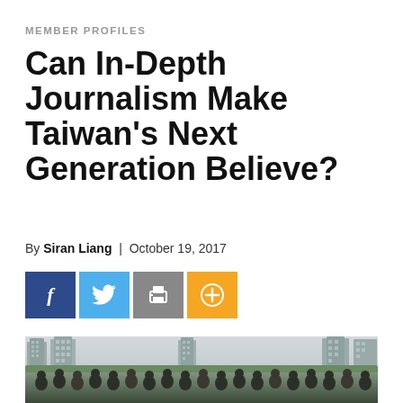MEMBER PROFILES
Can In-Depth Journalism Make Taiwan's Next Generation Believe?
By Siran Liang | October 19, 2017
[Figure (other): Social sharing buttons: Facebook (dark blue), Twitter (light blue), Print (grey), Plus/Add (orange)]
[Figure (photo): Group photo of approximately 25 young journalists/staff members posing on a rooftop with a Taiwan city skyline (tall residential and commercial buildings) in the background under an overcast sky.]